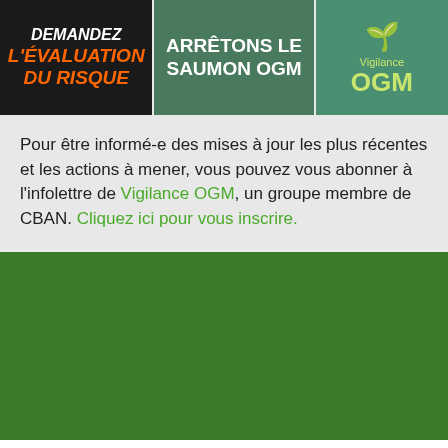[Figure (infographic): Three banner images side by side: 1) Dark background with orange text 'L'ÉVALUATION DU RISQUE' and white 'DEMANDEZ', 2) Green background with white text 'ARRÊTONS LE SAUMON OGM', 3) Green background with lime text 'Vigilance OGM' and a tree icon]
Pour être informé-e des mises à jour les plus récentes et les actions à mener, vous pouvez vous abonner à l'infolettre de Vigilance OGM, un groupe membre de CBAN. Cliquez ici pour vous inscrire.
[Figure (illustration): Solid dark green rectangular section, part of page footer area]
[Figure (logo): rcab logo with green leaf/sprout icon and 'rcab' text in dark green]